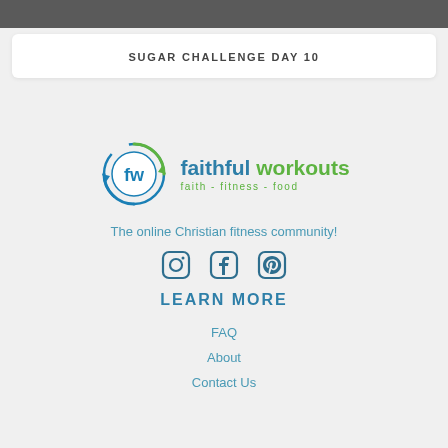SUGAR CHALLENGE DAY 10
[Figure (logo): Faithful Workouts logo: circular arrow icon with 'fw' letters, brand name 'faithful workouts' and tagline 'faith - fitness - food']
The online Christian fitness community!
[Figure (other): Social media icons: Instagram, Facebook, Pinterest]
LEARN MORE
FAQ
About
Contact Us